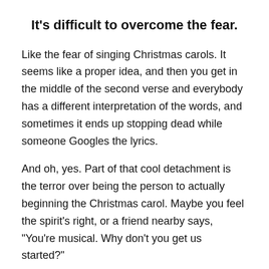It's difficult to overcome the fear.
Like the fear of singing Christmas carols. It seems like a proper idea, and then you get in the middle of the second verse and everybody has a different interpretation of the words, and sometimes it ends up stopping dead while someone Googles the lyrics.
And oh, yes. Part of that cool detachment is the terror over being the person to actually beginning the Christmas carol. Maybe you feel the spirit’s right, or a friend nearby says, “You’re musical. Why don’t you get us started?”
There are so many things that can go wrong. Your voice can crack, or you can pitch the carol too high or too low, leaving all those who joined in trying to change the key in